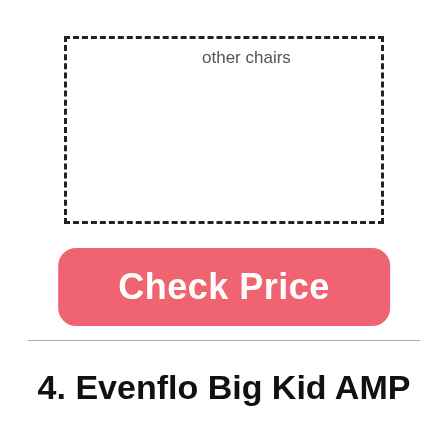[Figure (other): Dashed-border rectangle placeholder with text 'other chairs' in top-left area]
other chairs
Check Price
4. Evenflo Big Kid AMP